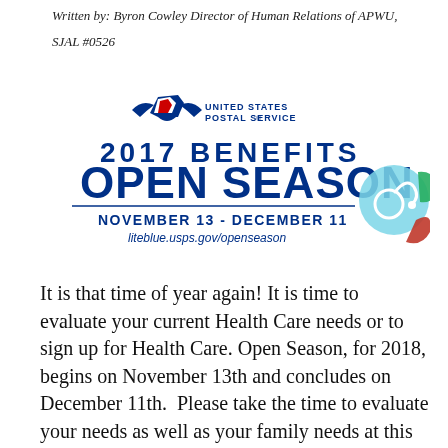Written by: Byron Cowley Director of Human Relations of APWU,
SJAL #0526
[Figure (logo): USPS 2017 Benefits Open Season logo with eagle icon, UNITED STATES POSTAL SERVICE text, '2017 BENEFITS OPEN SEASON' heading, 'NOVEMBER 13 - DECEMBER 11', 'liteblue.usps.gov/openseason', and a stethoscope graphic with colored circles]
It is that time of year again! It is time to evaluate your current Health Care needs or to sign up for Health Care. Open Season, for 2018, begins on November 13th and concludes on December 11th.  Please take the time to evaluate your needs as well as your family needs at this time. This is the opportunity to